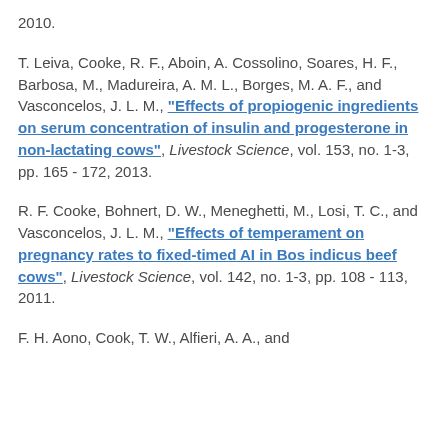2010.
T. Leiva, Cooke, R. F., Aboin, A. Cossolino, Soares, H. F., Barbosa, M., Madureira, A. M. L., Borges, M. A. F., and Vasconcelos, J. L. M., "Effects of propiogenic ingredients on serum concentration of insulin and progesterone in non-lactating cows", Livestock Science, vol. 153, no. 1-3, pp. 165 - 172, 2013.
R. F. Cooke, Bohnert, D. W., Meneghetti, M., Losi, T. C., and Vasconcelos, J. L. M., "Effects of temperament on pregnancy rates to fixed-timed AI in Bos indicus beef cows", Livestock Science, vol. 142, no. 1-3, pp. 108 - 113, 2011.
F. H. Aono, Cook, T. W., Alfieri, A. A., and